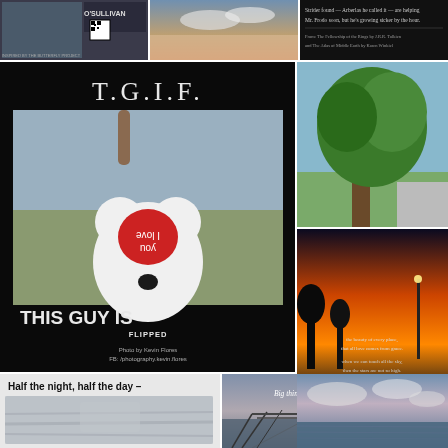[Figure (photo): Top left photo collage: portrait photo labeled O'SULLIVAN with a QR code and caption text below]
[Figure (photo): Top center: outdoor sky/landscape photo]
[Figure (photo): Top right: dark image with text about Strider/Frodo from Tolkien's Fellowship of the Ring]
[Figure (photo): Large center-left: Black motivational poster with T.G.I.F. text, photo of person holding stuffed bear toy with I Love You heart, text THIS GUY IS FLIPPED, photo credit to Kevin Flores]
[Figure (photo): Right top: Large green tree in sunlight outdoors]
[Figure (photo): Right middle: Sunset/dusk silhouette of trees with poem text overlay]
[Figure (photo): Right bottom: Calm water/seascape at dusk with clouds]
[Figure (photo): Bottom left: Abstract gray foggy/misty image with text Half the night, half the day -]
[Figure (photo): Bottom right: Waterfront boardwalk/pier at dusk with text Big things often have small beginnings...]